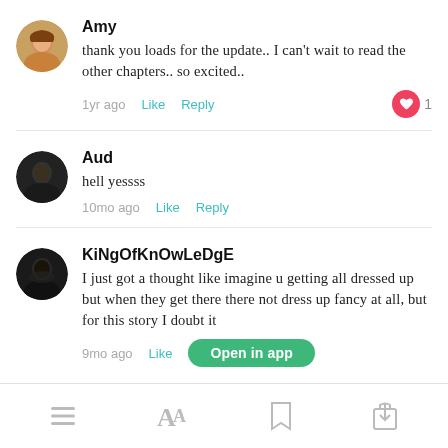Amy
thank you loads for the update.. I can't wait to read the other chapters.. so excited..
1yr ago   Like   Reply   ❤ 1
Aud
hell yessss
10mo ago   Like   Reply
KiNgOfKnOwLeDgE
I just got a thought like imagine u getting all dressed up but when they get there there not dress up fancy at all, but for this story I doubt it
9mo ago   Like   Open in app